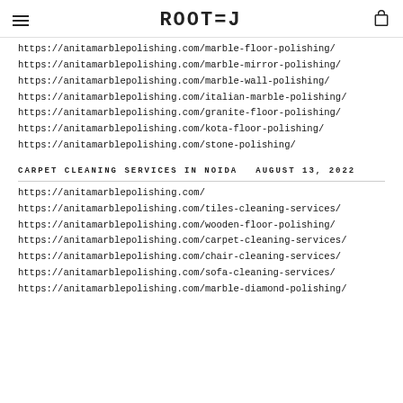ROOTED
https://anitamarblepolishing.com/marble-floor-polishing/
https://anitamarblepolishing.com/marble-mirror-polishing/
https://anitamarblepolishing.com/marble-wall-polishing/
https://anitamarblepolishing.com/italian-marble-polishing/
https://anitamarblepolishing.com/granite-floor-polishing/
https://anitamarblepolishing.com/kota-floor-polishing/
https://anitamarblepolishing.com/stone-polishing/
CARPET CLEANING SERVICES IN NOIDA    AUGUST 13, 2022
https://anitamarblepolishing.com/
https://anitamarblepolishing.com/tiles-cleaning-services/
https://anitamarblepolishing.com/wooden-floor-polishing/
https://anitamarblepolishing.com/carpet-cleaning-services/
https://anitamarblepolishing.com/chair-cleaning-services/
https://anitamarblepolishing.com/sofa-cleaning-services/
https://anitamarblepolishing.com/marble-diamond-polishing/